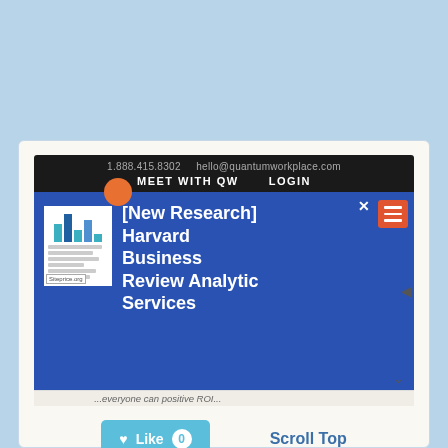[Figure (screenshot): Screenshot of quantumworkplace.com website showing browser navigation bar with contact info, and a popup overlay with text '[New Research] Harvard Business Review Analytic Services' on blue background with book thumbnail]
♥ Like 0
Scroll Top
quantumworkplace.com ↗
employee success software | quantum workplace quantum workplace provides the most reliable solutions for employee success. our platform helps business